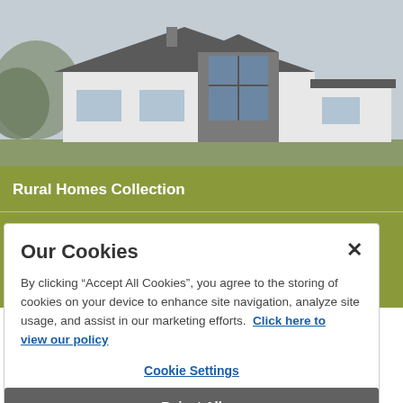[Figure (illustration): Architectural rendering of a white and stone 4 bedroom bungalow with dark roof and large front window, set against a grey sky background]
Rural Homes Collection
4 Bedroom Bungalow
Our Cookies
By clicking “Accept All Cookies”, you agree to the storing of cookies on your device to enhance site navigation, analyze site usage, and assist in our marketing efforts.  Click here to view our policy
Cookie Settings
Reject All